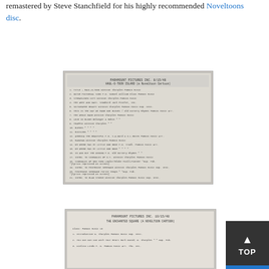remastered by Steve Stanchfield for his highly recommended Noveltoons disc.
[Figure (photo): Scanned document: Paramount Pictures Inc. cue sheet for 'Haul-o-Toon Island (a Noveltoon Cartoon)', listing numbered music cues with composers and publishers, dated approximately 1948.]
[Figure (photo): Scanned document: Paramount Pictures Inc. cue sheet for 'The Enchanted Square (a Noveltoon Cartoon)', dated 10/15/48, listing music cues including Introduction, You Can Can Can With Your Heart, Cielito Lindo, with Winston Sharples and Famous Music credits.]